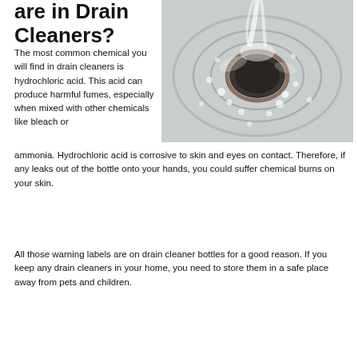are in Drain Cleaners?
[Figure (photo): Close-up overhead view of water swirling and foaming around a drain, with bubbles and turbulence around the metal drain opening.]
The most common chemical you will find in drain cleaners is hydrochloric acid. This acid can produce harmful fumes, especially when mixed with other chemicals like bleach or ammonia. Hydrochloric acid is corrosive to skin and eyes on contact. Therefore, if any leaks out of the bottle onto your hands, you could suffer chemical burns on your skin.
All those warning labels are on drain cleaner bottles for a good reason. If you keep any drain cleaners in your home, you need to store them in a safe place away from pets and children.